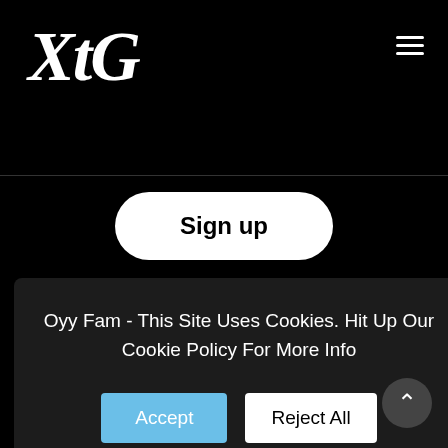XtG
[Figure (other): Hamburger menu icon (three horizontal lines) in top-right corner]
Sign up
rtist
etely
he man
t Q&A
r...
Oyy Fam - This Site Uses Cookies. Hit Up Our Cookie Policy For More Info
Accept
Reject All